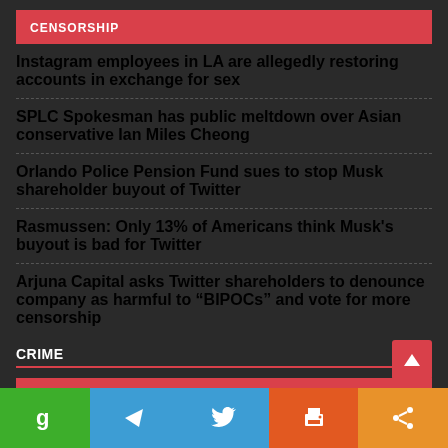CENSORSHIP
Instagram employees in LA are allegedly restoring accounts in exchange for sex
SPLC Spokesman has public meltdown over Asian conservative Ian Miles Cheong
Orlando Police Pension Fund sues to stop Musk shareholder buyout of Twitter
Rasmussen: Only 13% of Americans think Musk's buyout is bad for Twitter
Arjuna Capital asks Twitter shareholders to denounce company as harmful to “BIPOCs” and vote for more censorship
CRIME
CRIME
Top ten most dangerous counties based on reported…